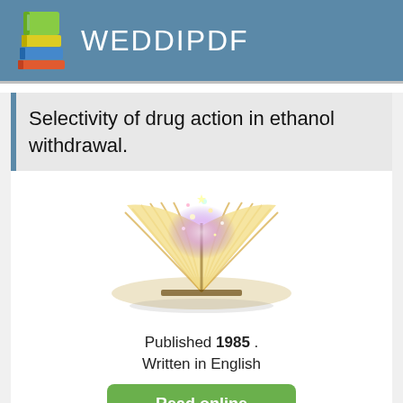WEDDIPDF
Selectivity of drug action in ethanol withdrawal.
[Figure (illustration): An open book with magical glowing light and sparkles emanating from its pages]
Published 1985 .
Written in English
Read online